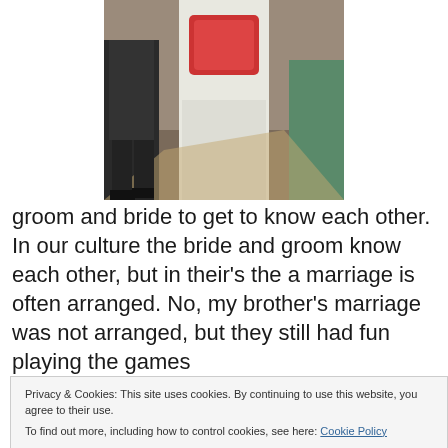[Figure (photo): Photo of a man in traditional Indian wedding attire (white dhoti, flower garland) walking with others, taken outdoors.]
groom and bride to get to know each other. In our culture the bride and groom know each other, but in their's the a marriage is often arranged. No, my brother's marriage was not arranged, but they still had fun playing the games
Privacy & Cookies: This site uses cookies. By continuing to use this website, you agree to their use.
To find out more, including how to control cookies, see here: Cookie Policy
Close and accept